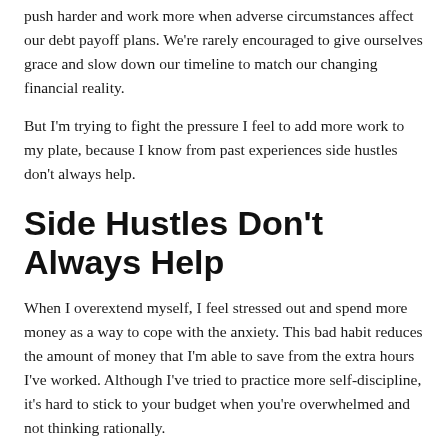push harder and work more when adverse circumstances affect our debt payoff plans. We're rarely encouraged to give ourselves grace and slow down our timeline to match our changing financial reality.
But I'm trying to fight the pressure I feel to add more work to my plate, because I know from past experiences side hustles don't always help.
Side Hustles Don't Always Help
When I overextend myself, I feel stressed out and spend more money as a way to cope with the anxiety. This bad habit reduces the amount of money that I'm able to save from the extra hours I've worked. Although I've tried to practice more self-discipline, it's hard to stick to your budget when you're overwhelmed and not thinking rationally.
Apparently, this is a pretty common issue. More than half of Americans shop impulsively to deal with stress, depression, and anxiety, sometimes as frequently as once a month. If